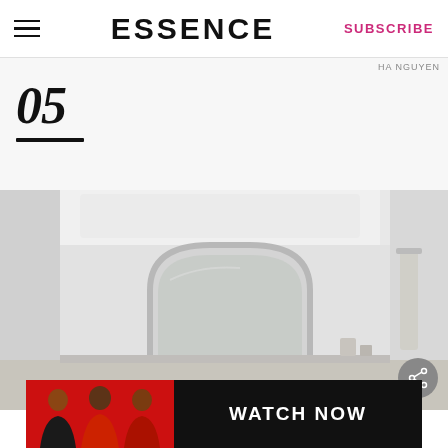ESSENCE  SUBSCRIBE
HA NGUYEN
05
[Figure (photo): Interior room scene with white walls, arched mirror, and minimal decor]
[Figure (photo): Ad banner showing three women smiling outdoors with WATCH NOW call to action on red and black background]